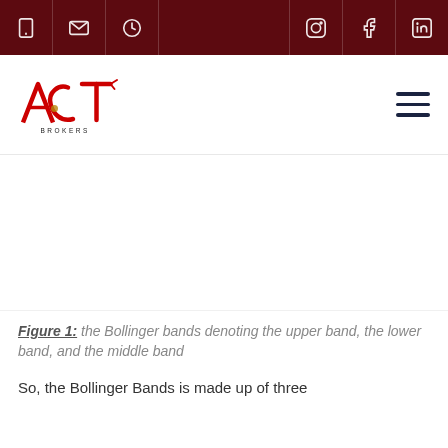ACT Brokers website header navigation bar with icons for phone, email, clock, Instagram, Facebook, LinkedIn
[Figure (logo): ACT Brokers logo — stylized red letters ACT with an arrow, and BROKERS below in small caps]
[Figure (other): Bollinger bands chart image area (blank/not loaded) showing upper band, lower band, and middle band]
Figure 1: the Bollinger bands denoting the upper band, the lower band, and the middle band
So, the Bollinger Bands is made up of three